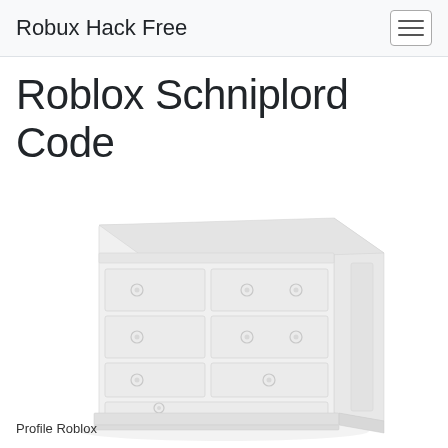Robux Hack Free
Roblox Schniplord Code
[Figure (photo): White painted wooden dresser/chest of drawers with multiple drawers and round knob handles, shown in a light isometric-style view against a white background]
Profile Roblox